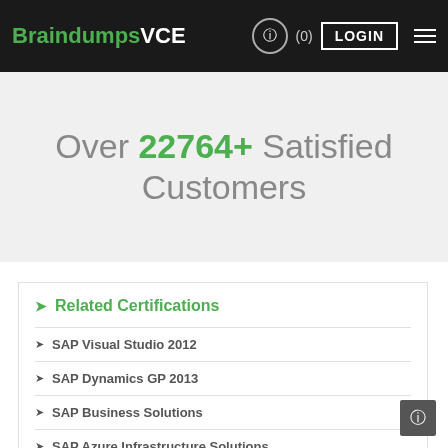BraindumpsVCE (0) LOGIN
Over 22764+ Satisfied Customers
Related Certifications
SAP Visual Studio 2012
SAP Dynamics GP 2013
SAP Business Solutions
SAP Azure Infrastructure Solutions
MCSE2000